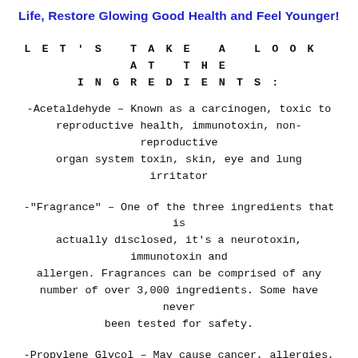Life, Restore Glowing Good Health and Feel Younger!
LET'S TAKE A LOOK AT THE INGREDIENTS:
-Acetaldehyde – Known as a carcinogen, toxic to reproductive health, immunotoxin, non-reproductive organ system toxin, skin, eye and lung irritator
-"Fragrance" – One of the three ingredients that is actually disclosed, it's a neurotoxin, immunotoxin and allergen. Fragrances can be comprised of any number of over 3,000 ingredients. Some have never been tested for safety.
-Propylene Glycol – May cause cancer, allergies,